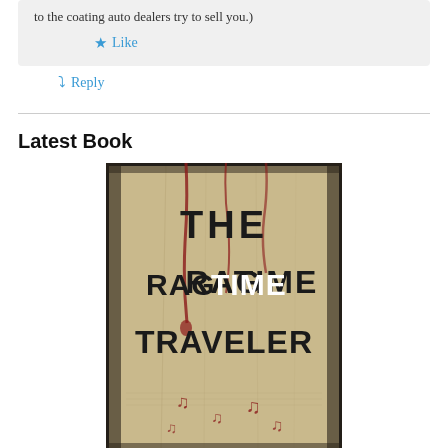to the coating auto dealers try to sell you.)
Like
Reply
Latest Book
[Figure (photo): Book cover of 'The Rag Time Traveler' showing aged parchment background with red stains/drips, bold black and white text, and musical note decorations at the bottom.]